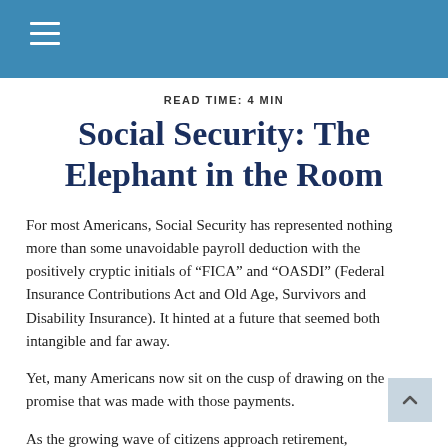READ TIME: 4 MIN
Social Security: The Elephant in the Room
For most Americans, Social Security has represented nothing more than some unavoidable payroll deduction with the positively cryptic initials of “FICA” and “OASDI” (Federal Insurance Contributions Act and Old Age, Survivors and Disability Insurance). It hinted at a future that seemed both intangible and far away.
Yet, many Americans now sit on the cusp of drawing on the promise that was made with those payments.
As the growing wave of citizens approach retirement,